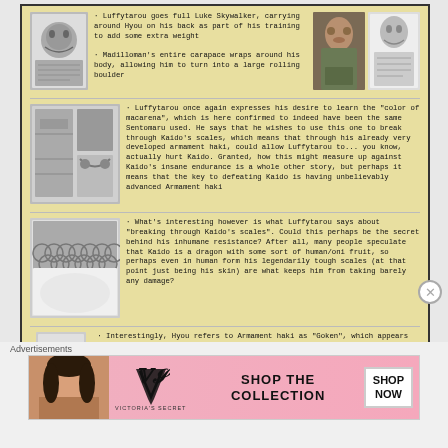Luffytarou goes full Luke Skywalker, carrying around Hyou on his back as part of his training to add some extra weight
Madilloman's entire carapace wraps around his body, allowing him to turn into a large rolling boulder
Luffytarou once again expresses his desire to learn the "color of macarena", which is here confirmed to indeed have been the same Sentomaru used. He says that he wishes to use this one to break through Kaido's scales, which means that through his already very developed armament haki, could allow Luffytarou to... you know, actually hurt Kaido. Granted, how this might measure up against Kaido's insane endurance is a whole other story, but perhaps it means that the key to defeating Kaido is having unbelievably advanced Armament haki
What's interesting however is what Luffytarou says about "breaking through Kaido's scales". Could this perhaps be the secret behind his inhumane resistance? After all, many people speculate that Kaido is a dragon with some sort of human/oni fruit, so perhaps even in human form his legendarily tough scales (at that point just being his skin) are what keeps him from taking barely any damage?
Hello there!
Interestingly, Hyou refers to Armament haki as "Goken", which appears to be the name for it in Wano. This term uses the kanji for swordsman but flipped around, making it "剛剣" (Goken). Ken stands for sword, while the first part, Go, can refer to something hard or strong, making the Wano term for haki literally "hard sword"/"hardened sword"
Advertisements
[Figure (illustration): Victoria's Secret advertisement banner with model, VS logo, 'SHOP THE COLLECTION' text and 'SHOP NOW' button]